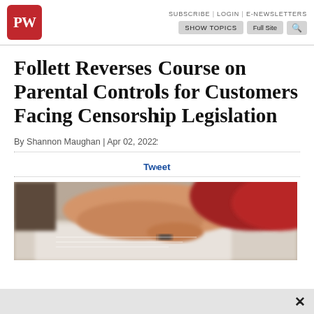SUBSCRIBE | LOGIN | E-NEWSLETTERS  SHOW TOPICS  Full Site  [search]
[Figure (logo): Publishers Weekly PW logo in red square with rounded corners]
Follett Reverses Course on Parental Controls for Customers Facing Censorship Legislation
By Shannon Maughan | Apr 02, 2022
Tweet
[Figure (photo): Blurred photo of a child's hand writing or drawing on paper, wearing a red shirt]